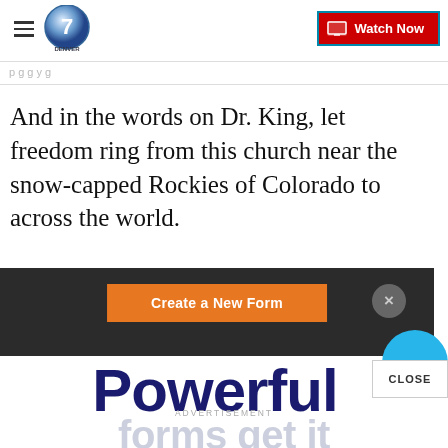Denver7 — Watch Now
And in the words on Dr. King, let freedom ring from this church near the snow-capped Rockies of Colorado to across the world.
[Figure (screenshot): Advertisement overlay with dark background, orange 'Create a New Form' button, and close (X) button with blue partial circle]
[Figure (screenshot): Large bold navy text 'Powerful' with 'CLOSE' button and advertisement label]
forms get it